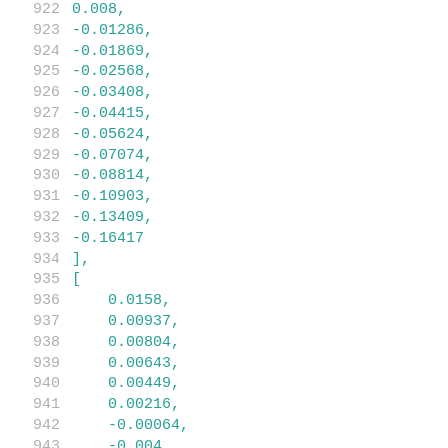922    0.008,
923    -0.01286,
924    -0.01869,
925    -0.02568,
926    -0.03408,
927    -0.04415,
928    -0.05624,
929    -0.07074,
930    -0.08814,
931    -0.10903,
932    -0.13409,
933    -0.16417
934    ],
935    [
936    0.0158,
937    0.00937,
938    0.00804,
939    0.00643,
940    0.00449,
941    0.00216,
942    -0.00064,
943    -0.004,